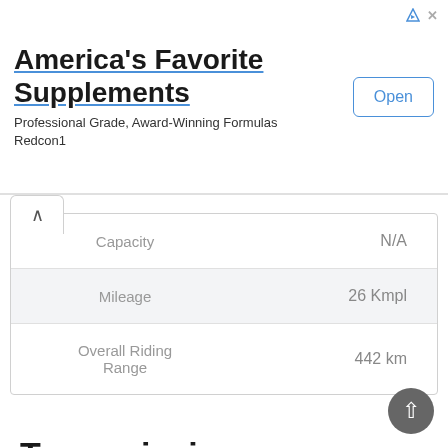[Figure (screenshot): Advertisement banner for Redcon1 supplements with title 'America's Favorite Supplements', subtitle 'Professional Grade, Award-Winning Formulas Redcon1', and an 'Open' button]
|  |  |
| --- | --- |
| Capacity | N/A |
| Mileage | 26 Kmpl |
| Overall Riding Range | 442 km |
Transmission
|  |  |
| --- | --- |
| No. of Gears | 6 Gears |